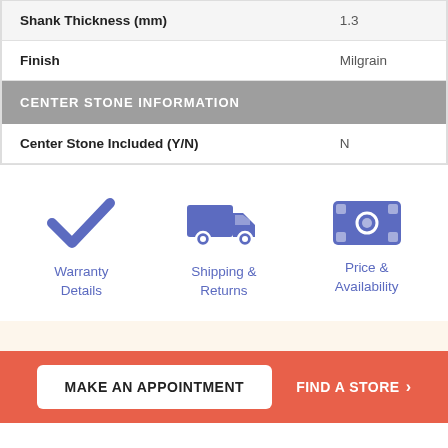| Shank Thickness (mm) | 1.3 |
| Finish | Milgrain |
| CENTER STONE INFORMATION |  |
| Center Stone Included (Y/N) | N |
[Figure (infographic): Three icons in a row: a blue checkmark (Warranty Details), a blue delivery truck (Shipping & Returns), and a blue banknote (Price & Availability)]
Warranty Details
Shipping & Returns
Price & Availability
MAKE AN APPOINTMENT
FIND A STORE >